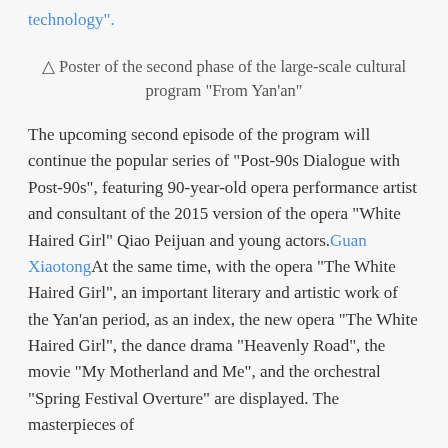historical dialectics, broad vision and advanced technology".
△ Poster of the second phase of the large-scale cultural program “From Yan’an”
The upcoming second episode of the program will continue the popular series of “Post-90s Dialogue with Post-90s”, featuring 90-year-old opera performance artist and consultant of the 2015 version of the opera “White Haired Girl” Qiao Peijuan and young actors.Guan XiaotongAt the same time, with the opera “The White Haired Girl”, an important literary and artistic work of the Yan’an period, as an index, the new opera “The White Haired Girl”, the dance drama “Heavenly Road”, the movie “My Motherland and Me”, and the orchestral “Spring Festival Overture” are displayed. The masterpieces of